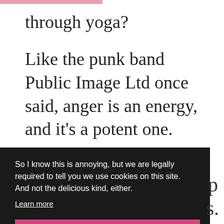through yoga?
Like the punk band Public Image Ltd once said, anger is an energy, and it's a potent one.
Make it positive and productive with
So I know this is annoying, but we are legally required to tell you we use cookies on this site. And not the delicious kind, either.
Learn more
I agree.